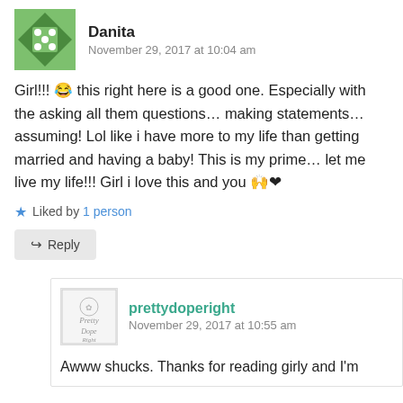Danita
November 29, 2017 at 10:04 am
Girl!!! 😂 this right here is a good one. Especially with the asking all them questions… making statements… assuming! Lol like i have more to my life than getting married and having a baby! This is my prime… let me live my life!!! Girl i love this and you 🙌❤
Liked by 1 person
Reply
prettydoperight
November 29, 2017 at 10:55 am
Awww shucks. Thanks for reading girly and I'm